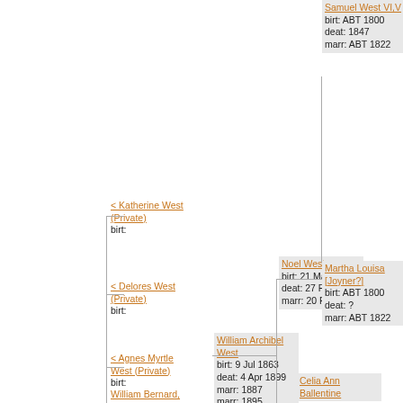[Figure (organizational-chart): Genealogy family tree chart showing ancestors. Individuals shown: Samuel West VI,V (birt: ABT 1800, deat: 1847, marr: ABT 1822), Noel West (birt: 21 May 1830, deat: 27 Feb 1897, marr: 20 Feb 1859), Martha Louisa [Joyner?] (birt: ABT 1800, deat: ?, marr: ABT 1822), William Archibel West (birt: 9 Jul 1863, deat: 4 Apr 1899, marr: 1887, marr: 1895), Katherine West (Private) birt:, Delores West (Private) birt:, Agnes Myrtle West (Private) birt:, William Bernard Jr. West (Private) birt:, Celia Ann Ballentine]